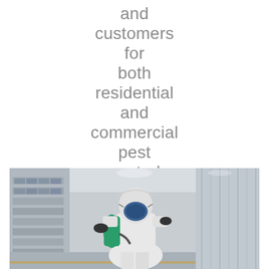and customers for both residential and commercial pest control services.
[Figure (photo): A pest control worker in a white protective suit and respirator mask, carrying a green sprayer tank, working in a warehouse with shelves of goods wrapped in plastic.]